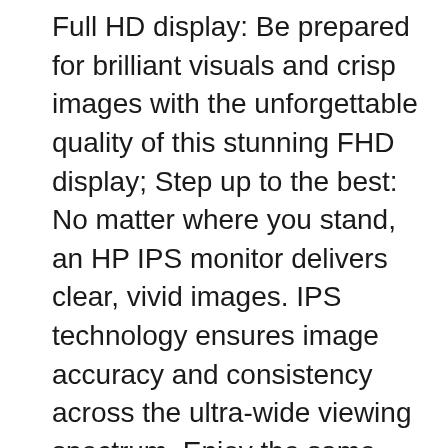Full HD display: Be prepared for brilliant visuals and crisp images with the unforgettable quality of this stunning FHD display; Step up to the best: No matter where you stand, an HP IPS monitor delivers clear, vivid images. IPS technology ensures image accuracy and consistency across the ultra-wide viewing spectrum. Enjoy the same wide viewing crisp images with the unforgettable quality of this stunning FHD display.(1) вЂу Micro-edge display: With virtually no bezel encircling the display, an ultra-wide viewing experience provides for seamless multi-monitor set-ups. вЂу Step up to the best: No matter where you stand, an HP IPS monitor delivers clear, vivid images. IPS technology